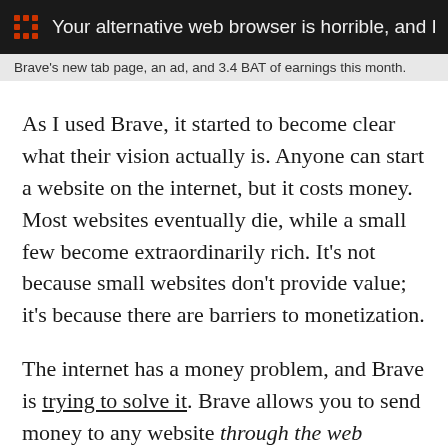Your alternative web browser is horrible, and I li…
Brave's new tab page, an ad, and 3.4 BAT of earnings this month.
As I used Brave, it started to become clear what their vision actually is. Anyone can start a website on the internet, but it costs money. Most websites eventually die, while a small few become extraordinarily rich. It's not because small websites don't provide value; it's because there are barriers to monetization.
The internet has a money problem, and Brave is trying to solve it. Brave allows you to send money to any website through the web browser. That's right, you can send money to a domain name. We're talking about recurring payments similar to Patreon, but through the